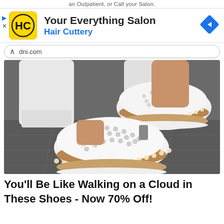an Outpatient, or Call your Salon.
[Figure (infographic): Advertisement banner for Hair Cuttery salon with yellow HC logo, text 'Your Everything Salon' and 'Hair Cuttery', blue navigation arrow icon]
dni.com
[Figure (photo): Close-up photo of feet wearing white slip-on shoes with perforated design, tan/brown stripe, espadrille-style sole with pearl-like trim, person wearing white jeans, on a stone/concrete surface]
You'll Be Like Walking on a Cloud in These Shoes - Now 70% Off!